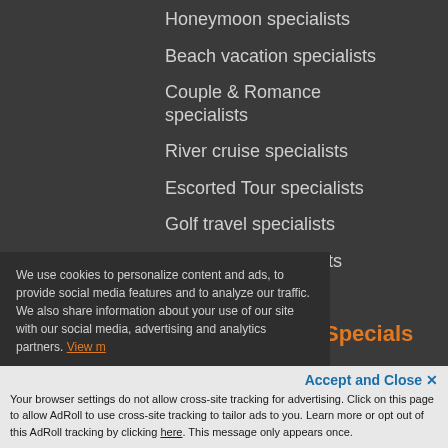Honeymoon specialists
Beach vacation specialists
Couple & Romance specialists
River cruise specialists
Escorted Tour specialists
Golf travel specialists
Adults-only specialists
View More >
Curated Travel Specials
Cruises
We use cookies to personalize content and ads, to provide social media features and to analyze our traffic. We also share information about your use of our site with our social media, advertising and analytics partners. View more
Accept and Close ✕
Your browser settings do not allow cross-site tracking for advertising. Click on this page to allow AdRoll to use cross-site tracking to tailor ads to you. Learn more or opt out of this AdRoll tracking by clicking here. This message only appears once.